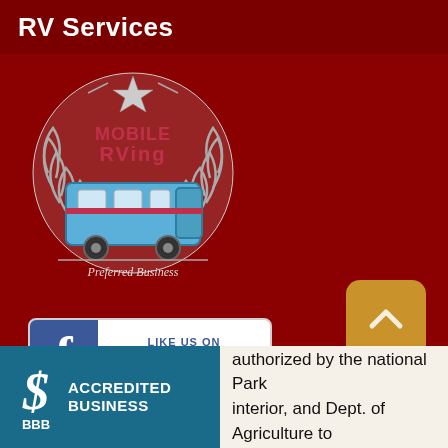RV Services
[Figure (logo): Mobile RVing Preferred Business circular logo with RV vehicle and laurel wreath, red and silver colors]
[Figure (logo): Like us on Facebook button with Facebook 'f' icon in blue and white]
[Figure (other): Gold/amber rounded square scroll-to-top button with upward chevron arrow]
[Figure (logo): BBB Accredited Business badge in teal/dark blue]
authorized by the national Park interior, and Dept. of Agriculture to